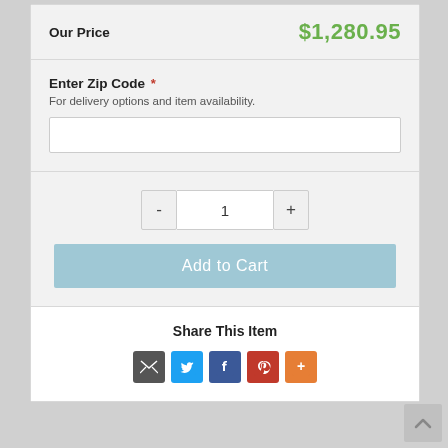Our Price   $1,280.95
Enter Zip Code *
For delivery options and item availability.
- 1 +
Add to Cart
Share This Item
[Figure (infographic): Social share icons: email (grey), Twitter (blue), Facebook (dark blue), Pinterest (red), More (orange)]